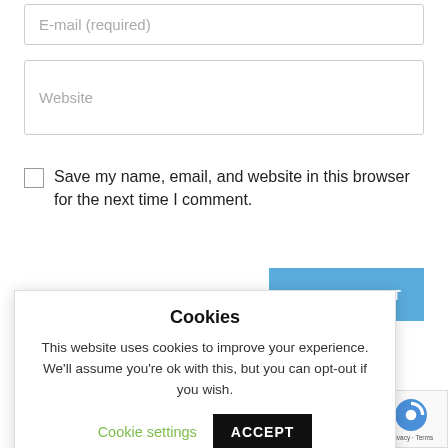E-mail (required)
Website
Save my name, email, and website in this browser for the next time I comment.
ST COMMENT
Cookies
This website uses cookies to improve your experience. We'll assume you're ok with this, but you can opt-out if you wish.
Cookie settings
ACCEPT
15/08/2022
n 23/05/20
Privacy · Terms